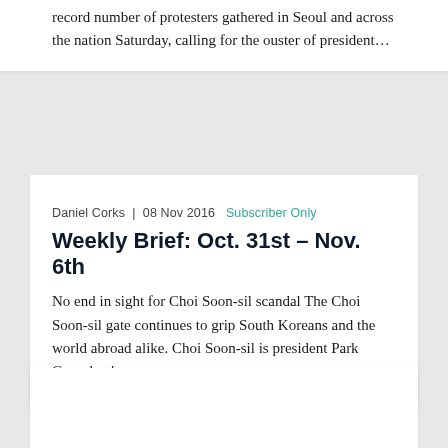record number of protesters gathered in Seoul and across the nation Saturday, calling for the ouster of president...
Daniel Corks | 08 Nov 2016  Subscriber Only
Weekly Brief: Oct. 31st – Nov. 6th
No end in sight for Choi Soon-sil scandal The Choi Soon-sil gate continues to grip South Koreans and the world abroad alike. Choi Soon-sil is president Park Geun-hye'...